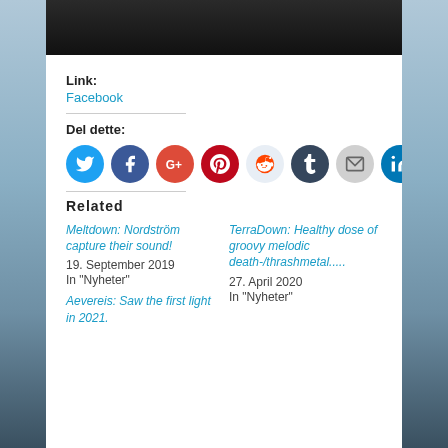[Figure (photo): Dark/black top portion of an image, partial landscape or concert photo]
Link:
Facebook
Del dette:
[Figure (infographic): Row of social media share icons: Twitter, Facebook, Google+, Pinterest, Reddit, Tumblr, Email, LinkedIn]
Related
Meltdown: Nordström capture their sound!
19. September 2019
In "Nyheter"
TerraDown: Healthy dose of groovy melodic death-/thrashmetal.....
27. April 2020
In "Nyheter"
Aevereis: Saw the first light in 2021.